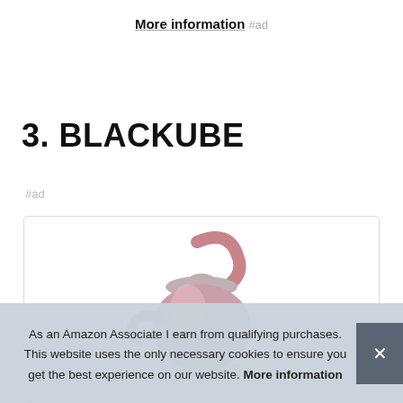More information #ad
3. BLACKUBE
#ad
[Figure (photo): Product photo of a pink/rose gold colored kettle or teapot partially visible at top of card]
As an Amazon Associate I earn from qualifying purchases. This website uses the only necessary cookies to ensure you get the best experience on our website. More information